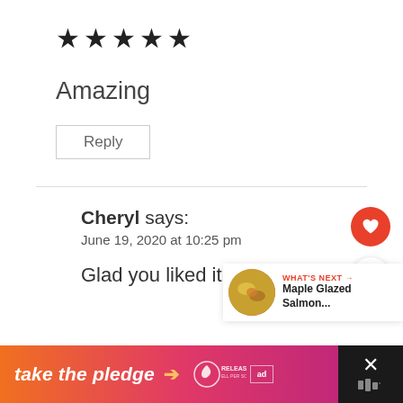[Figure (other): Five filled black stars rating]
Amazing
Reply
Cheryl says:
June 19, 2020 at 10:25 pm
Glad you liked it!
[Figure (other): WHAT'S NEXT → Maple Glazed Salmon... with food thumbnail image]
[Figure (other): take the pledge → RELEASE ad banner with orange-pink gradient, close X button on right]